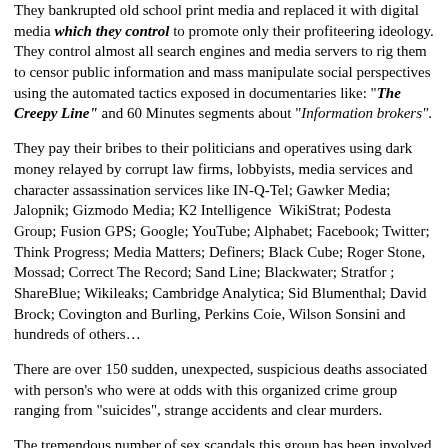They bankrupted old school print media and replaced it with digital media which they control to promote only their profiteering ideology. They control almost all search engines and media servers to rig them to censor public information and mass manipulate social perspectives using the automated tactics exposed in documentaries like: "The Creepy Line" and 60 Minutes segments about "Information brokers".
They pay their bribes to their politicians and operatives using dark money relayed by corrupt law firms, lobbyists, media services and character assassination services like IN-Q-Tel; Gawker Media; Jalopnik; Gizmodo Media; K2 Intelligence  WikiStrat; Podesta Group; Fusion GPS; Google; YouTube; Alphabet; Facebook; Twitter; Think Progress; Media Matters; Definers; Black Cube; Roger Stone, Mossad; Correct The Record; Sand Line; Blackwater; Stratfor ; ShareBlue; Wikileaks; Cambridge Analytica; Sid Blumenthal; David Brock; Covington and Burling, Perkins Coie, Wilson Sonsini and hundreds of others…
There are over 150 sudden, unexpected, suspicious deaths associated with person's who were at odds with this organized crime group ranging from "suicides", strange accidents and clear murders.
The tremendous number of sex scandals this group has been involved in are related to their need to control others, a key